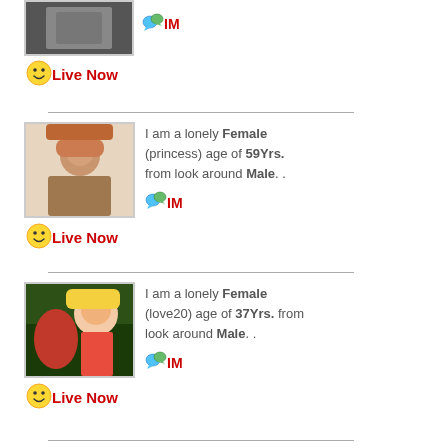[Figure (photo): Profile photo of person (partial, top of page), with IM chat icon and red IM text]
IM
Live Now
I am a lonely Female (princess) age of 59Yrs. from look around Male. .
IM
Live Now
I am a lonely Female (love20) age of 37Yrs. from look around Male. .
IM
Live Now